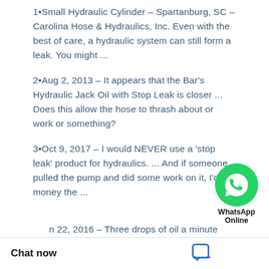1·Small Hydraulic Cylinder – Spartanburg, SC – Carolina Hose & Hydraulics, Inc. Even with the best of care, a hydraulic system can still form a leak. You might ...
2·Aug 2, 2013 – It appears that the Bar's Hydraulic Jack Oil with Stop Leak is closer ... Does this allow the hose to thrash about or work or something?
3·Oct 9, 2017 – I would NEVER use a 'stop leak' product for hydraulics. ... And if someone pulled the pump and did some work on it, I'd bet money the ...
...n 22, 2016 – Three drops of oil a minute leaking from one connector in your hydraulic ar just in
[Figure (logo): WhatsApp green circle icon with phone handset, labeled 'WhatsApp Online']
Chat now